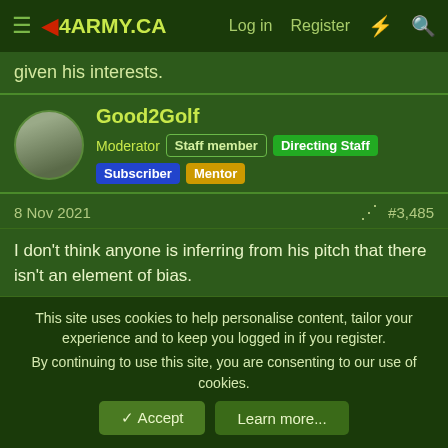4ARMY.CA  Log in  Register
given his interests.
Good2Golf
Moderator  Staff member  Directing Staff  Subscriber  Mentor
8 Nov 2021  #3,485
I don't think anyone is inferring from his pitch that there isn't an element of bias.

But so too, it is important for the RCAF and the FF to appreciate its own bias(es), relative to what is desired from an RCAF perspective, Departmental, Governmental, etc.
This site uses cookies to help personalise content, tailor your experience and to keep you logged in if you register.
By continuing to use this site, you are consenting to our use of cookies.
[Accept]  [Learn more...]